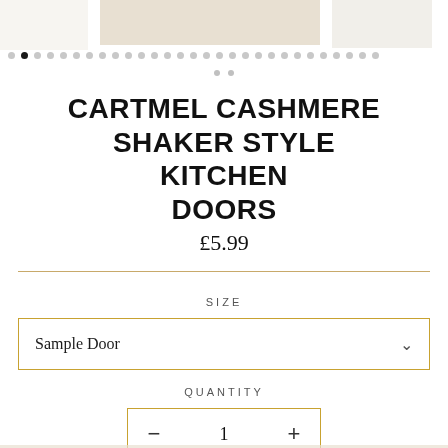[Figure (photo): Top strip showing partial product images of kitchen doors in cashmere/beige tones]
CARTMEL CASHMERE SHAKER STYLE KITCHEN DOORS
£5.99
SIZE
Sample Door
QUANTITY
1